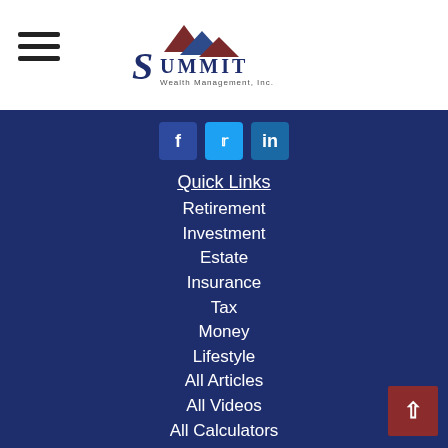[Figure (logo): Summit Wealth Management, Inc. logo with mountain graphic]
[Figure (infographic): Social media icons: Facebook (f), Twitter (bird), LinkedIn (in)]
Quick Links
Retirement
Investment
Estate
Insurance
Tax
Money
Lifestyle
All Articles
All Videos
All Calculators
All Presentations